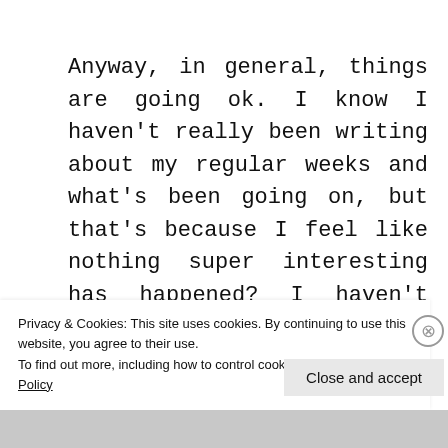Anyway, in general, things are going ok. I know I haven't really been writing about my regular weeks and what's been going on, but that's because I feel like nothing super interesting has happened? I haven't gone out to do anything fun, I see the same 5 people always and on average I have like 200 pages of compulsory reading everyweek so I spend most of my time on my laptop doing that.
Privacy & Cookies: This site uses cookies. By continuing to use this website, you agree to their use.
To find out more, including how to control cookies, see here: Cookie Policy